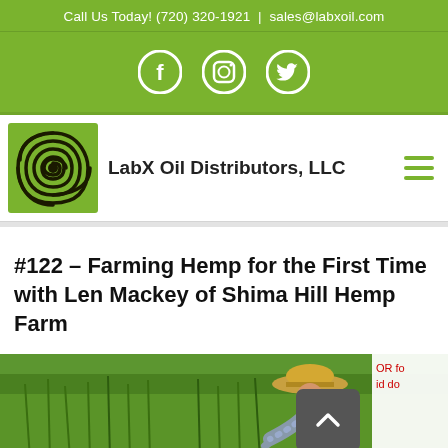Call Us Today! (720) 320-1921 | sales@labxoil.com
[Figure (logo): Social media icons bar with Facebook, Instagram, and Twitter circle icons on green background]
[Figure (logo): LabX Oil Distributors, LLC logo - green square with maze/spiral design in black]
LabX Oil Distributors, LLC
#122 – Farming Hemp for the First Time with Len Mackey of Shima Hill Hemp Farm
[Figure (photo): Person in straw hat working in a green hemp field]